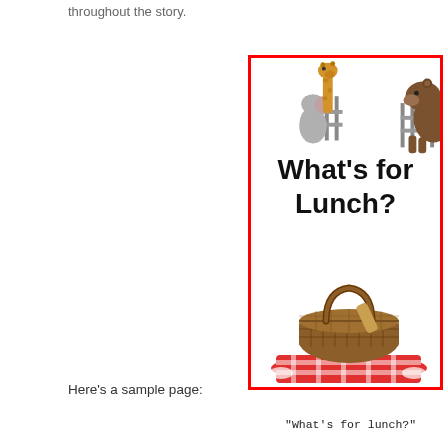throughout the story.
[Figure (illustration): Book cover with red border showing title 'What's for Lunch?' with zoo animals at top and a picnic basket on a checkered blanket at bottom]
Here's a sample page:
"What's for lunch?"